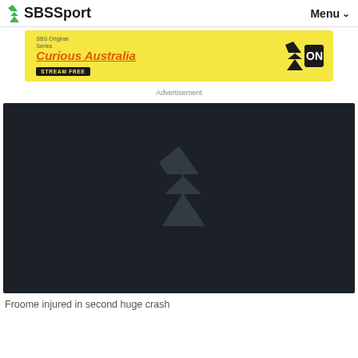SBS Sport  Menu
[Figure (screenshot): ABC iview advertisement banner with yellow background showing 'SBS Original Series - Curious Australia - STREAM FREE' text and ABC iview logo]
Advertisement
[Figure (screenshot): Dark video player thumbnail with SBS logo watermark in grey tones, showing loading/placeholder state]
Froome injured in second huge crash